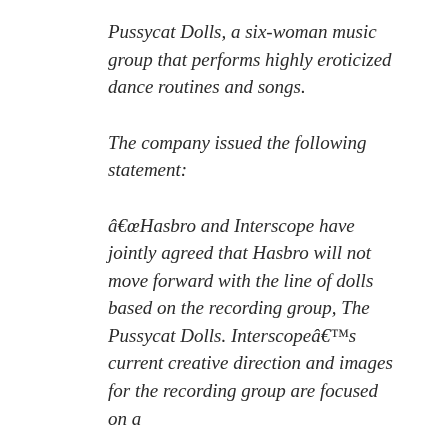Pussycat Dolls, a six-woman music group that performs highly eroticized dance routines and songs.
The company issued the following statement:
â€œHasbro and Interscope have jointly agreed that Hasbro will not move forward with the line of dolls based on the recording group, The Pussycat Dolls. Interscopeâ€™s current creative direction and images for the recording group are focused on a